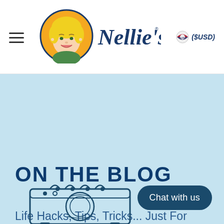[Figure (logo): Nellie's brand logo: circular illustration of a retro woman with yellow hair on orange background, next to cursive 'Nellie's' text]
($USD)
ON THE BLOG
Life Hacks, Tips, Tricks... Just For You.
[Figure (illustration): Line illustration of a washing machine at the bottom of the blue section]
Chat with us